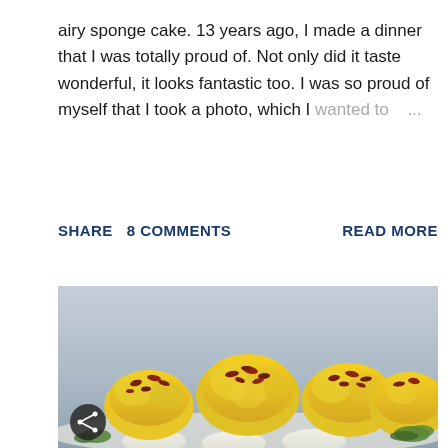airy sponge cake. 13 years ago, I made a dinner that I was totally proud of. Not only did it taste wonderful, it looks fantastic too. I was so proud of myself that I took a photo, which I wanted to ...
SHARE   8 COMMENTS   READ MORE
[Figure (photo): Close-up photo of deviled eggs topped with bacon bits on a white plate, with green garnish, gray background]